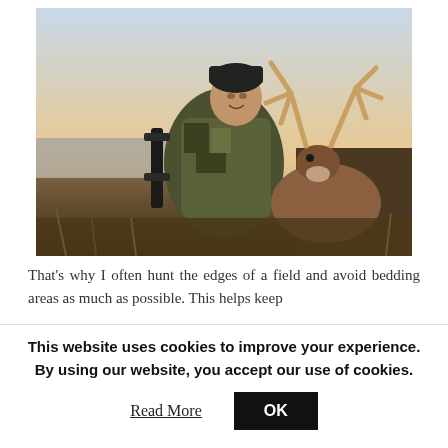[Figure (photo): A hunter in camouflage clothing and black beanie hat kneeling beside a harvested white-tailed buck deer with large antlers. The hunter holds a compound bow. Background shows a field and water at dusk/dawn with golden sky.]
That's why I often hunt the edges of a field and avoid bedding areas as much as possible. This helps keep
This website uses cookies to improve your experience. By using our website, you accept our use of cookies.
Read More
OK